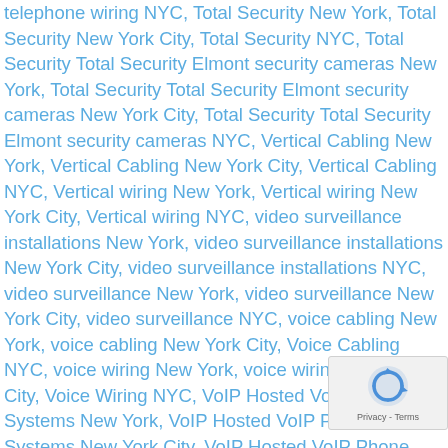telephone wiring NYC, Total Security New York, Total Security New York City, Total Security NYC, Total Security Total Security Elmont security cameras New York, Total Security Total Security Elmont security cameras New York City, Total Security Total Security Elmont security cameras NYC, Vertical Cabling New York, Vertical Cabling New York City, Vertical Cabling NYC, Vertical wiring New York, Vertical wiring New York City, Vertical wiring NYC, video surveillance installations New York, video surveillance installations New York City, video surveillance installations NYC, video surveillance New York, video surveillance New York City, video surveillance NYC, voice cabling New York, voice cabling New York City, Voice Cabling NYC, voice wiring New York, voice wiring New York City, Voice Wiring NYC, VoIP Hosted VoIP Phone Systems New York, VoIP Hosted VoIP Phone Systems New York City, VoIP Hosted VoIP Phone Systems NYC, VoIP New York, VoIP New York City, VoIP NYC, VoIP PBX New York, VoIP PBX New York City, VoIP PBX NYC, VoIP Phone Systems New York, VoIP Phone Systems New York City, VoIP Phone Systems NYC, VoIP Phones New York, VoIP Phones New York City, VoIP Phones NYC, VoIP Telephone Systems New York, VoIP Telephone Systems New York City, VoIP Telephone Systems NYC, wiring Architecture New York, wiring Architecture New York City, wiring Architecture NYC, wiring cameras New York, wiring cameras New York, wiring cameras
[Figure (other): reCAPTCHA badge widget showing a circular arrows icon and 'Privacy - Terms' text]